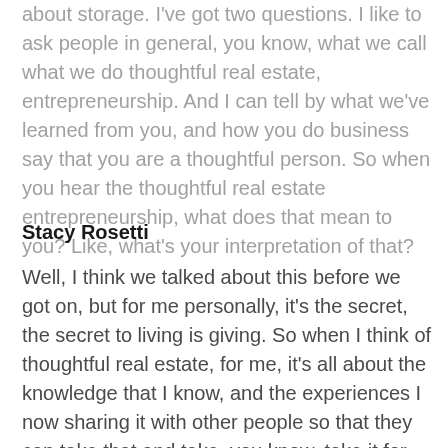about storage. I've got two questions. I like to ask people in general, you know, what we call what we do thoughtful real estate, entrepreneurship. And I can tell by what we've learned from you, and how you do business say that you are a thoughtful person. So when you hear the thoughtful real estate entrepreneurship, what does that mean to you? Like, what's your interpretation of that?
Stacy Rosetti
Well, I think we talked about this before we got on, but for me personally, it's the secret, the secret to living is giving. So when I think of thoughtful real estate, for me, it's all about the knowledge that I know, and the experiences I now sharing it with other people so that they can take that and take, you know, take it for whatever they want and utilize it in their